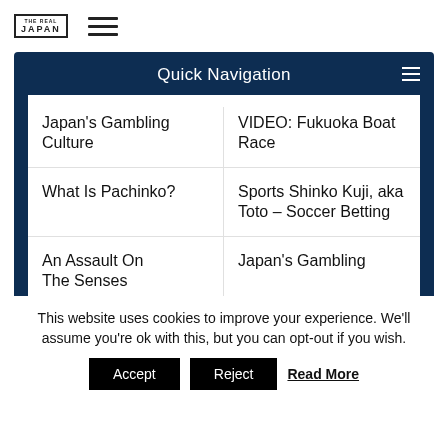THE REAL JAPAN
Quick Navigation
Japan's Gambling Culture
VIDEO: Fukuoka Boat Race
What Is Pachinko?
Sports Shinko Kuji, aka Toto – Soccer Betting
An Assault On The Senses
Japan's Gambling
This website uses cookies to improve your experience. We'll assume you're ok with this, but you can opt-out if you wish.
Accept   Reject   Read More